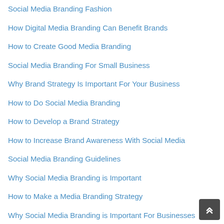Social Media Branding Fashion
How Digital Media Branding Can Benefit Brands
How to Create Good Media Branding
Social Media Branding For Small Business
Why Brand Strategy Is Important For Your Business
How to Do Social Media Branding
How to Develop a Brand Strategy
How to Increase Brand Awareness With Social Media
Social Media Branding Guidelines
Why Social Media Branding is Important
How to Make a Media Branding Strategy
Why Social Media Branding is Important For Businesses
How to Create a Brand Awareness Campaign